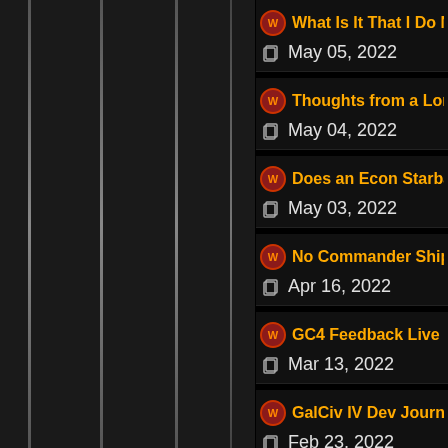What Is It That I Do Not... — May 05, 2022
Thoughts from a Long-ti... — May 04, 2022
Does an Econ Starbase... — May 03, 2022
No Commander Ship ar... — Apr 16, 2022
GC4 Feedback Live Bra... — Mar 13, 2022
GalCiv IV Dev Journal #... — Feb 23, 2022